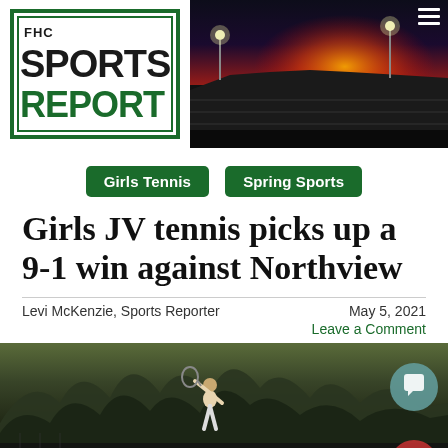[Figure (logo): FHC Sports Report logo with green border box and bold text]
[Figure (photo): Stadium at sunset with red/orange sky]
Girls Tennis
Spring Sports
Girls JV tennis picks up a 9-1 win against Northview
Levi McKenzie, Sports Reporter   May 5, 2021
Leave a Comment
[Figure (photo): Tennis player on outdoor court with trees in background]